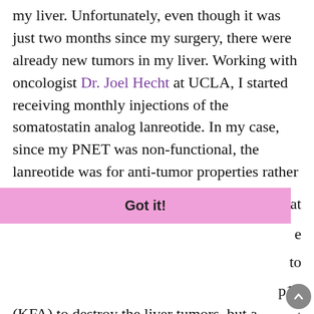my liver. Unfortunately, even though it was just two months since my surgery, there were already new tumors in my liver. Working with oncologist Dr. Joel Hecht at UCLA, I started receiving monthly injections of the somatostatin analog lanreotide. In my case, since my PNET was non-functional, the lanreotide was for anti-tumor properties rather than hormonal control.
[Figure (screenshot): Cookie consent banner with purple background reading 'This website uses cookies to ensure you get the best experience on our website.' with a 'Learn more' underlined link, and a pink 'Got it!' button bar below.]
ns at e to p15 t (KFA) to destroy the liver tumors, but a